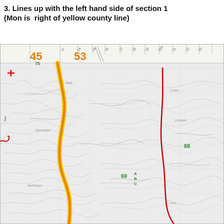3. Lines up with the left hand side of section 1 (Mon is right of yellow county line)
[Figure (map): Topographic map showing terrain features, roads, and county boundaries. An orange/yellow route line runs roughly north-south on the left portion. A red line marks a county boundary on the right portion. Green numbers 68, 69 mark points. Orange numbers 45, 53 and green number 75 appear at the top of the map near a ruler/scale bar. A red cross symbol appears at upper left. Section numbers appear along the top edge of the map.]